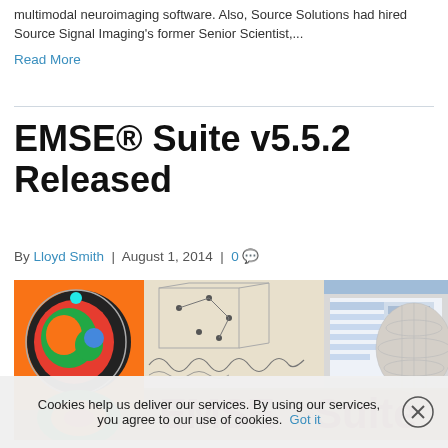multimodal neuroimaging software. Also, Source Solutions had hired Source Signal Imaging's former Senior Scientist,...
Read More
EMSE® Suite v5.5.2 Released
By Lloyd Smith | August 1, 2014 | 0
[Figure (screenshot): EMSE Suite software screenshot composite showing brain MRI scans with colored overlays, signal analysis windows, a 3D head mesh model, and large red EMSE® Suite text logo on an orange-brown background.]
Cookies help us deliver our services. By using our services, you agree to our use of cookies. Got it